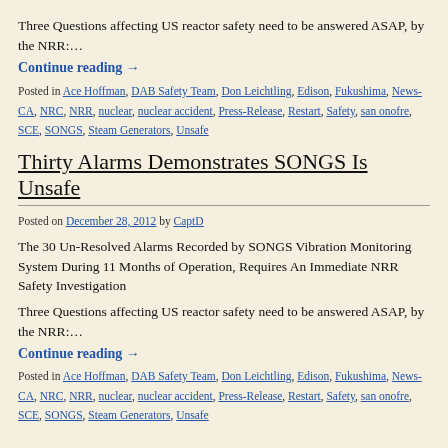Three Questions affecting US reactor safety need to be answered ASAP, by the NRR:…
Continue reading →
Posted in Ace Hoffman, DAB Safety Team, Don Leichtling, Edison, Fukushima, News-CA, NRC, NRR, nuclear, nuclear accident, Press-Release, Restart, Safety, san onofre, SCE, SONGS, Steam Generators, Unsafe
Thirty Alarms Demonstrates SONGS Is Unsafe
Posted on December 28, 2012 by CaptD
The 30 Un-Resolved Alarms Recorded by SONGS Vibration Monitoring System During 11 Months of Operation, Requires An Immediate NRR Safety Investigation
Three Questions affecting US reactor safety need to be answered ASAP, by the NRR:…
Continue reading →
Posted in Ace Hoffman, DAB Safety Team, Don Leichtling, Edison, Fukushima, News-CA, NRC, NRR, nuclear, nuclear accident, Press-Release, Restart, Safety, san onofre, SCE, SONGS, Steam Generators, Unsafe